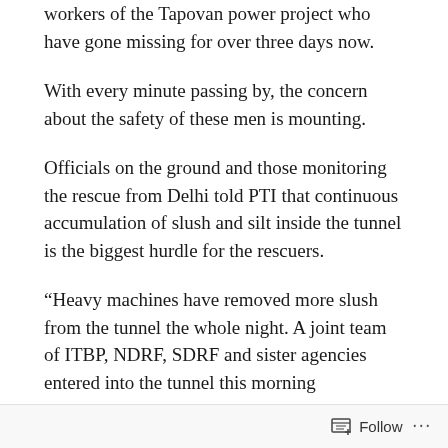workers of the Tapovan power project who have gone missing for over three days now.
With every minute passing by, the concern about the safety of these men is mounting.
Officials on the ground and those monitoring the rescue from Delhi told PTI that continuous accumulation of slush and silt inside the tunnel is the biggest hurdle for the rescuers.
“Heavy machines have removed more slush from the tunnel the whole night. A joint team of ITBP, NDRF, SDRF and sister agencies entered into the tunnel this morning
Follow ...